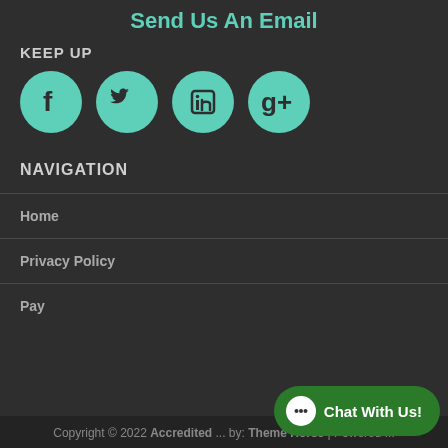Send Us An Email
KEEP UP
[Figure (illustration): Four teal social media icons in circles: Facebook, Twitter, LinkedIn, Google+]
NAVIGATION
Home
Privacy Policy
Pay
Copyright © 2022 Accredited ... by: Theme Horse | Powered ...
[Figure (illustration): Green 'Chat With Us!' button with chat bubble icon in bottom right corner]